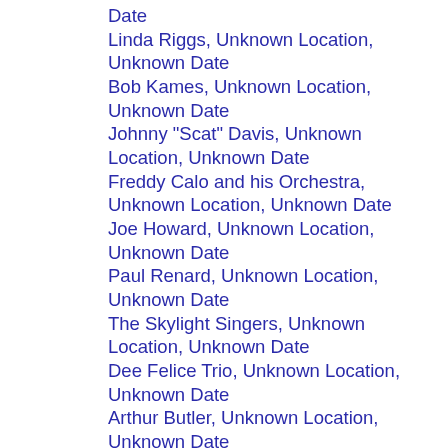Date
Linda Riggs, Unknown Location, Unknown Date
Bob Kames, Unknown Location, Unknown Date
Johnny "Scat" Davis, Unknown Location, Unknown Date
Freddy Calo and his Orchestra, Unknown Location, Unknown Date
Joe Howard, Unknown Location, Unknown Date
Paul Renard, Unknown Location, Unknown Date
The Skylight Singers, Unknown Location, Unknown Date
Dee Felice Trio, Unknown Location, Unknown Date
Arthur Butler, Unknown Location, Unknown Date
Jimmy Tyler, Unknown Location, Unknown Date
Orangie Hubbard, Unknown Location, Unknown Date
Lois Williams, Unknown Location, Unknown Date
Gil Richmond, Unknown Location, Unknown Date